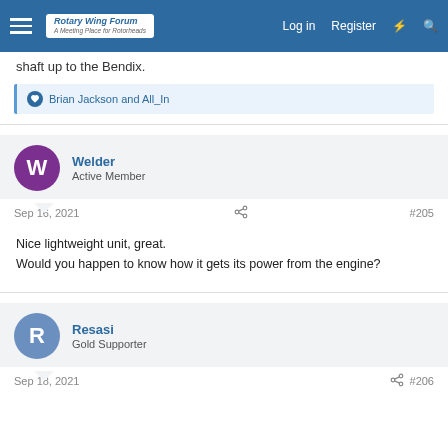Rotary Wing Forum — A Meeting Place for Rotorheads | Log in | Register
shaft up to the Bendix.
Brian Jackson and All_In
Welder
Active Member
Sep 16, 2021   #205
Nice lightweight unit, great.
Would you happen to know how it gets its power from the engine?
Resasi
Gold Supporter
Sep 18, 2021   #206